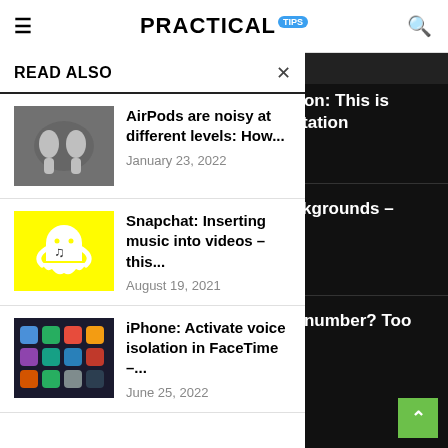PRACTICAL TIPS
READ ALSO
[Figure (photo): AirPods earbuds on a dark surface]
AirPods are noisy at different levels: How...
January 23, 2022
[Figure (logo): Snapchat ghost logo on yellow background]
Snapchat: Inserting music into videos – this...
August 19, 2021
[Figure (photo): iPhone screen showing app icons]
iPhone: Activate voice isolation in FaceTime –...
June 25, 2022
consumption: This is new PlayStation
t table backgrounds – it works
ot a prime number? Too ing to ask